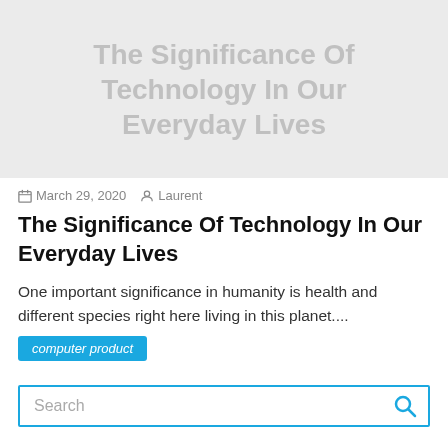[Figure (other): Hero banner with light gray background displaying the article title 'The Significance Of Technology In Our Everyday Lives' in large gray text]
March 29, 2020   Laurent
The Significance Of Technology In Our Everyday Lives
One important significance in humanity is health and different species right here living in this planet....
computer product
Search
About Us